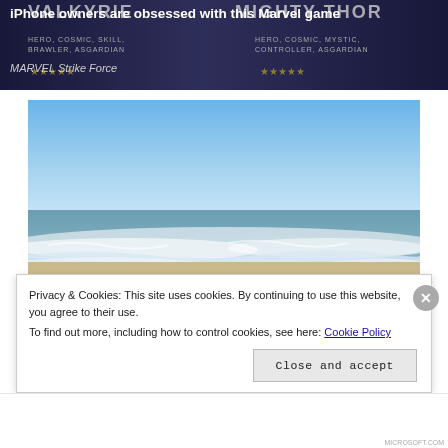[Figure (screenshot): Advertisement banner for MARVEL Strike Force game with dark purple/navy background showing characters Valkyrie and Mighty Thor with star ratings and text overlaid]
iPhone owners are obsessed with this Marvel game
MARVEL Strike Force
[Figure (photo): Beach scene with blue sky, ocean waves, and sandy shore]
Privacy & Cookies: This site uses cookies. By continuing to use this website, you agree to their use.
To find out more, including how to control cookies, see here: Cookie Policy
Close and accept